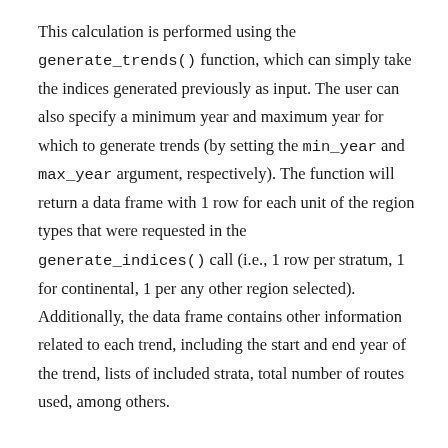This calculation is performed using the generate_trends() function, which can simply take the indices generated previously as input. The user can also specify a minimum year and maximum year for which to generate trends (by setting the min_year and max_year argument, respectively). The function will return a data frame with 1 row for each unit of the region types that were requested in the generate_indices() call (i.e., 1 row per stratum, 1 for continental, 1 per any other region selected). Additionally, the data frame contains other information related to each trend, including the start and end year of the trend, lists of included strata, total number of routes used, among others.